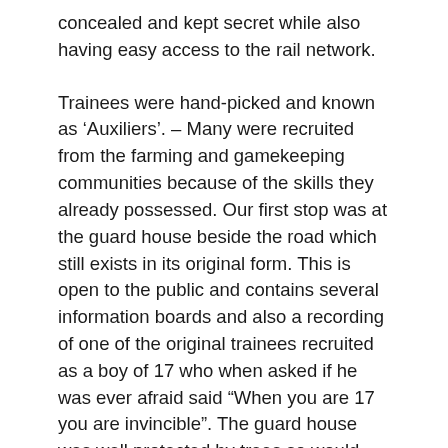concealed and kept secret while also having easy access to the rail network.
Trainees were hand-picked and known as ‘Auxiliers’. – Many were recruited from the farming and gamekeeping communities because of the skills they already possessed. Our first stop was at the guard house beside the road which still exists in its original form. This is open to the public and contains several information boards and also a recording of one of the original trainees recruited as a boy of 17 who when asked if he was ever afraid said “When you are 17 you are invincible”. The guard house was well protected by trees so would not have been visible from the air.
The Unit was commanded by Col. Mike Gubbins and many of the recruits were veterans of the First World War or too young to be called up for the Second. We saw a map of the expected lines of attack in the event of invasion, and the